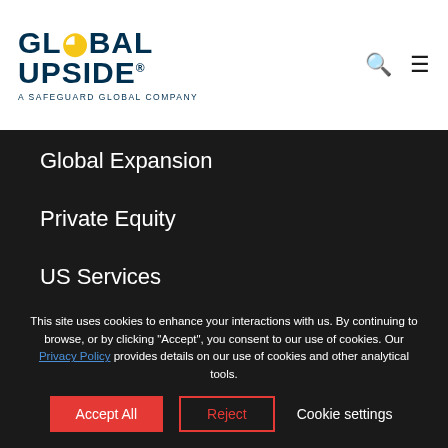[Figure (logo): Global Upside logo — bold dark teal text reading 'GLOBAL UPSIDE®' with a stylized yellow/gold globe replacing the O in GLOBAL, and subtitle 'A SAFEGUARD GLOBAL COMPANY']
Global Expansion
Private Equity
US Services
Quick Links
Global Reach
Knowledge Center
About Us
This site uses cookies to enhance your interactions with us. By continuing to browse, or by clicking "Accept", you consent to our use of cookies. Our Privacy Policy provides details on our use of cookies and other analytical tools.
Accept All   Reject   Cookie settings